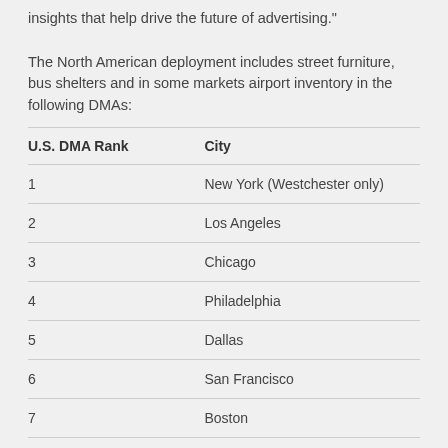insights that help drive the future of advertising."

The North American deployment includes street furniture, bus shelters and in some markets airport inventory in the following DMAs:
| U.S. DMA Rank | City |
| --- | --- |
| 1 | New York (Westchester only) |
| 2 | Los Angeles |
| 3 | Chicago |
| 4 | Philadelphia |
| 5 | Dallas |
| 6 | San Francisco |
| 7 | Boston |
| 8 | Washington DC |